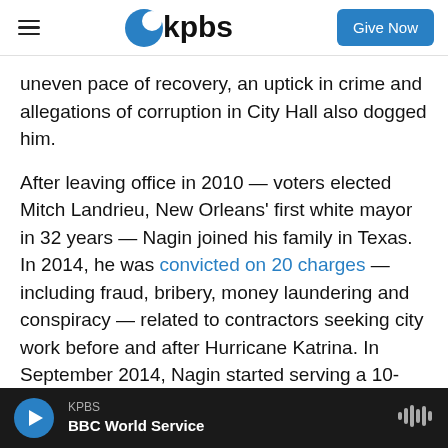kpbs | Give Now
uneven pace of recovery, an uptick in crime and allegations of corruption in City Hall also dogged him.
After leaving office in 2010 — voters elected Mitch Landrieu, New Orleans' first white mayor in 32 years — Nagin joined his family in Texas. In 2014, he was convicted on 20 charges — including fraud, bribery, money laundering and conspiracy — related to contractors seeking city work before and after Hurricane Katrina. In September 2014, Nagin started serving a 10-year sentence at a federal prison in Texarkana, Texas. His lawyers filed an
KPBS | BBC World Service